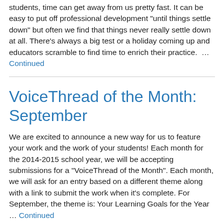students, time can get away from us pretty fast. It can be easy to put off professional development "until things settle down" but often we find that things never really settle down at all. There's always a big test or a holiday coming up and educators scramble to find time to enrich their practice. … Continued
VoiceThread of the Month: September
We are excited to announce a new way for us to feature your work and the work of your students! Each month for the 2014-2015 school year, we will be accepting submissions for a "VoiceThread of the Month". Each month, we will ask for an entry based on a different theme along with a link to submit the work when it's complete. For September, the theme is: Your Learning Goals for the Year … Continued